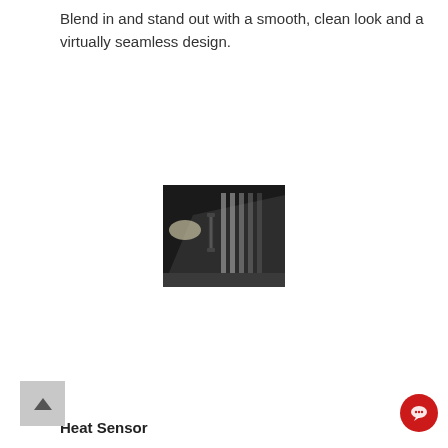Blend in and stand out with a smooth, clean look and a virtually seamless design.
[Figure (photo): Close-up black and white photo of a kitchen ventilation hood with a sleek, seamless design, showing stainless steel panels and a handle.]
Heat Sensor